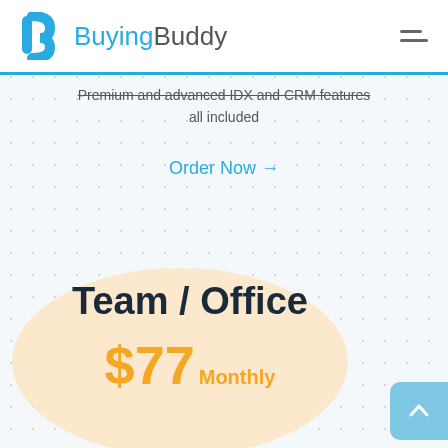BuyingBuddy
Premium and advanced IDX and CRM features all included
Order Now →
Team / Office
$77 Monthly